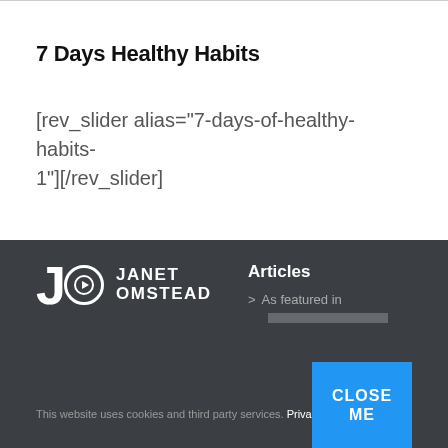7 Days Healthy Habits
[rev_slider alias="7-days-of-healthy-habits-1"][/rev_slider]
[Figure (logo): Janet Omstead logo with JO letters and play button icon, white on dark background]
Articles
> As featured in
This website uses cookies and third party services. Privacy Policy
CLOSE ME